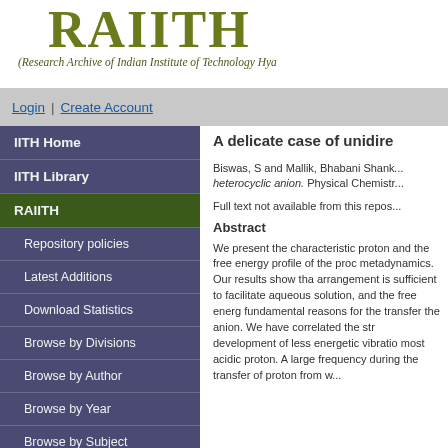[Figure (logo): RAIITH logo — bold olive/dark-yellow text 'RAIITH' with decorative flourish, subtitle '(Research Archive of Indian Institute of Technology Hya...']
Login | Create Account
IITH Home
IITH Library
RAIITH
Repository policies
Latest Additions
Download Statistics
Browse by Divisions
Browse by Author
Browse by Year
Browse by Subject
A delicate case of unidire...
Biswas, S and Mallik, Bhabani Shank... heterocyclic anion. Physical Chemistr...
Full text not available from this repos...
Abstract
We present the characteristic proton and the free energy profile of the proc metadynamics. Our results show tha arrangement is sufficient to facilitate aqueous solution, and the free energ fundamental reasons for the transfer the anion. We have correlated the str development of less energetic vibratio most acidic proton. A large frequency during the transfer of proton from w...